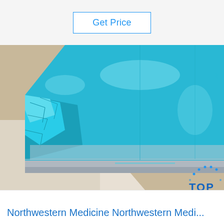Get Price
[Figure (photo): Photo of blue-film-covered aluminum or metal sheet/plate stacked on packaging material (kraft paper), showing glossy blue protective film peeling at one corner, with a 'TOP' logo watermark in the bottom right corner.]
Northwestern Medicine Northwestern Medi...